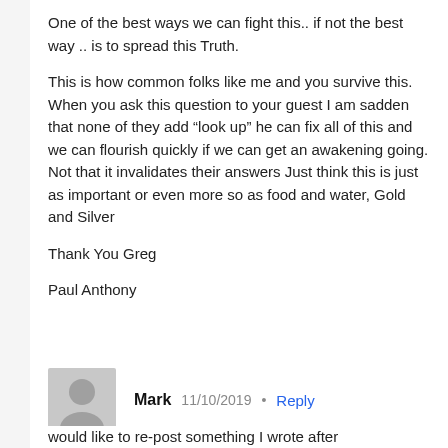One of the best ways we can fight this.. if not the best way .. is to spread this Truth.
This is how common folks like me and you survive this. When you ask this question to your guest I am sadden that none of they add “look up” he can fix all of this and we can flourish quickly if we can get an awakening going. Not that it invalidates their answers Just think this is just as important or even more so as food and water, Gold and Silver
Thank You Greg
Paul Anthony
Mark   11/10/2019 •   Reply
Dear Greg,
If you would indulge me, I
would like to re-post something I wrote after